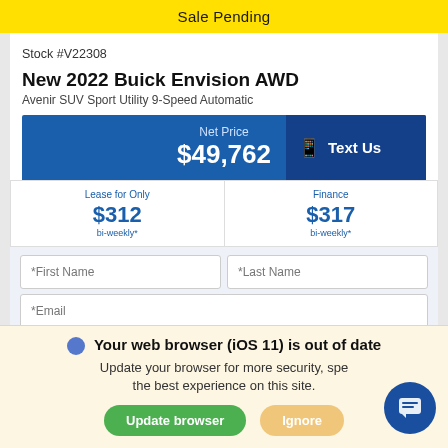Sale Pending
Stock #V22308
New 2022 Buick Envision AWD
Avenir SUV Sport Utility 9-Speed Automatic
Net Price $49,762 + HST
| Lease for Only | Finance |
| --- | --- |
| $312 | $317 |
| bi-weekly* | bi-weekly* |
*First Name *Last Name *Email Phone
Your web browser (iOS 11) is out of date. Update your browser for more security, speed and the best experience on this site.
Update browser | Ignore